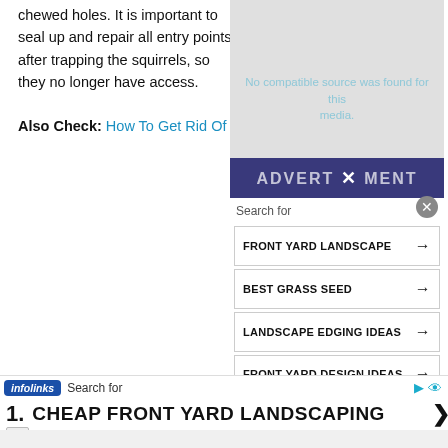chewed holes. It is important to seal up and repair all entry points after trapping the squirrels, so they no longer have access.
Also Check: How To Get Rid Of Ferns In Yard
[Figure (screenshot): Video placeholder with 'No compatible source was found for this media' message and advertisement overlay]
[Figure (screenshot): Search widget with items: FRONT YARD LANDSCAPE, BEST GRASS SEED, LANDSCAPE EDGING IDEAS, FRONT YARD DESIGN IDEAS]
infolinks | Search for
1. CHEAP FRONT YARD LANDSCAPING
Ad | Business Focus